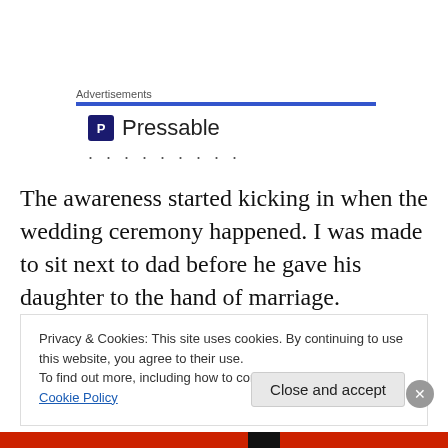Advertisements
[Figure (logo): Pressable logo with P icon and text 'Pressable' followed by dots]
The awareness started kicking in when the wedding ceremony happened. I was made to sit next to dad before he gave his daughter to the hand of marriage. Awkward, yes, but the uncomfortable position also made me realize that a son has to learn being a good guardian
Privacy & Cookies: This site uses cookies. By continuing to use this website, you agree to their use. To find out more, including how to control cookies, see here: Cookie Policy